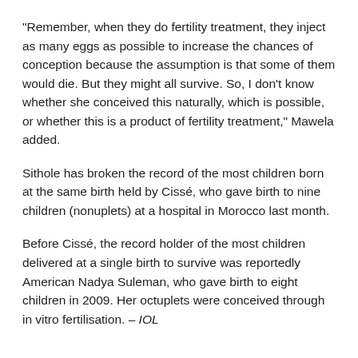"Remember, when they do fertility treatment, they inject as many eggs as possible to increase the chances of conception because the assumption is that some of them would die. But they might all survive. So, I don't know whether she conceived this naturally, which is possible, or whether this is a product of fertility treatment," Mawela added.
Sithole has broken the record of the most children born at the same birth held by Cissé, who gave birth to nine children (nonuplets) at a hospital in Morocco last month.
Before Cissé, the record holder of the most children delivered at a single birth to survive was reportedly American Nadya Suleman, who gave birth to eight children in 2009. Her octuplets were conceived through in vitro fertilisation. – IOL